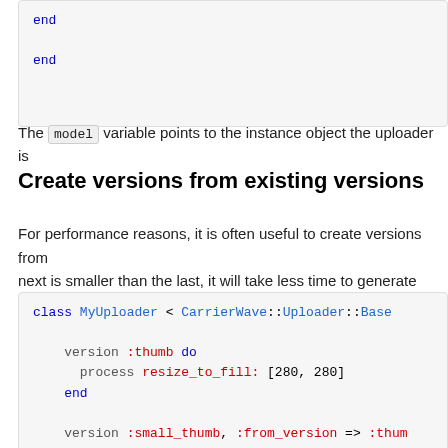[Figure (screenshot): Code block showing 'end' keyword in blue monospace]
The model variable points to the instance object the uploader is
Create versions from existing versions
For performance reasons, it is often useful to create versions from next is smaller than the last, it will take less time to generate from
[Figure (screenshot): Code block: class MyUploader < CarrierWave::Uploader::Base with version :thumb do process resize_to_fill: [280, 280] end and version :small_thumb, :from_version => :thumb do process resize_to_fill: [20, 20] end end]